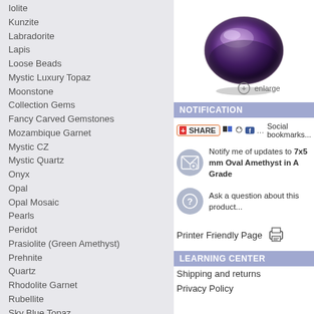Iolite
Kunzite
Labradorite
Lapis
Loose Beads
Mystic Luxury Topaz
Moonstone
Collection Gems
Fancy Carved Gemstones
Mozambique Garnet
Mystic CZ
Mystic Quartz
Onyx
Opal
Opal Mosaic
Pearls
Peridot
Prasiolite (Green Amethyst)
Prehnite
Quartz
Rhodolite Garnet
Rubellite
Sky Blue Topaz
Simulated Gemstones
Spessartite Garnet
Swiss Blue Topaz
Tiger Eye
Tourmaline
Tsavorite
Turquoise
Agate
White Topaz
Semi Precious Deals And Steals
Jewelry
Specials
Alpha Collector's Gallery
[Figure (photo): Oval purple amethyst gemstone, faceted, with a circular enlarge button below]
Notification
Social bookmarks...
Notify me of updates to 7x5 mm Oval Amethyst in A Grade
Ask a question about this product...
Printer Friendly Page
Learning Center
Shipping and returns
Privacy Policy